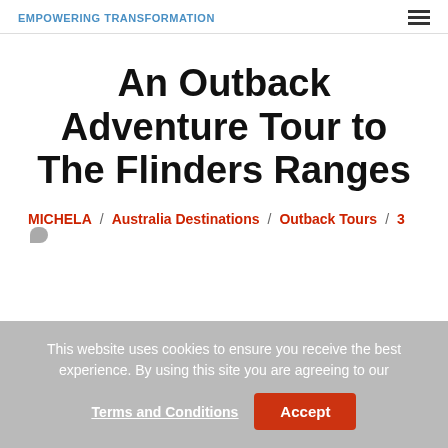EMPOWERING TRANSFORMATION
An Outback Adventure Tour to The Flinders Ranges
MICHELA / Australia Destinations / Outback Tours / 3 comments
This website uses cookies to ensure you receive the best experience. By using this site you are agreeing to our Terms and Conditions  Accept